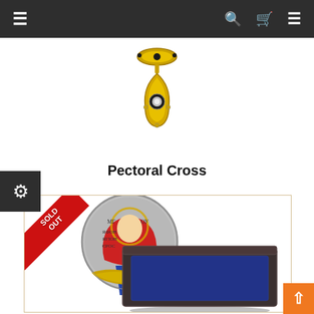Navigation bar with menu, search, cart, and menu icons
[Figure (photo): Gold pendant / pectoral cross ornament on white background]
Pectoral Cross
[Figure (photo): Collectible silver coin with Orthodox saint icon displayed in dark blue velvet gift box, with SOLD OUT ribbon in top-left corner]
Back to top button (orange arrow up)